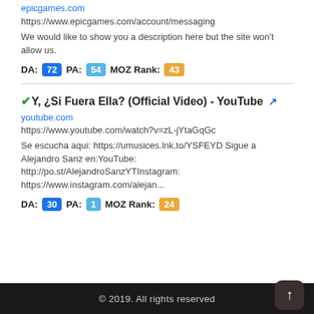epicgames.com
https://www.epicgames.com/account/messaging
We would like to show you a description here but the site won't allow us.
DA: 72  PA: 54  MOZ Rank: 43
Y, ¿Si Fuera Ella? (Official Video) - YouTube
youtube.com
https://www.youtube.com/watch?v=zL-jYtaGqGc
Se escucha aqui: https://umusices.lnk.to/YSFEYD Sigue a Alejandro Sanz en:YouTube: http://po.st/AlejandroSanzYTInstagram: https://www.instagram.com/alejan...
DA: 30  PA: 1  MOZ Rank: 24
© 2019. All rights reserved